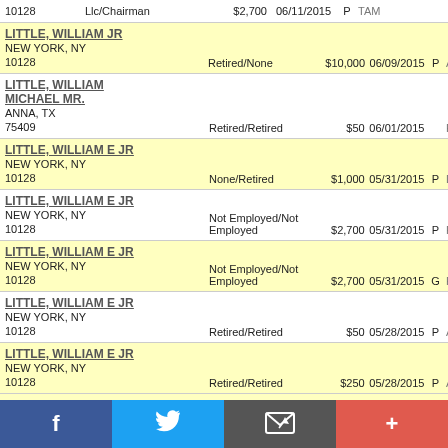10128   Llc/Chairman   $2,700   06/11/2015   P   TAM
LITTLE, WILLIAM JR
NEW YORK, NY
10128   Retired/None   $10,000   06/09/2015   P   AME
LITTLE, WILLIAM MICHAEL MR.
ANNA, TX
75409   Retired/Retired   $50   06/01/2015   REP
LITTLE, WILLIAM E JR
NEW YORK, NY
10128   None/Retired   $1,000   05/31/2015   P   DSC
LITTLE, WILLIAM E JR
NEW YORK, NY
10128   Not Employed/Not Employed   $2,700   05/31/2015   P   FRI
LITTLE, WILLIAM E JR
NEW YORK, NY
10128   Not Employed/Not Employed   $2,700   05/31/2015   G   FRI
LITTLE, WILLIAM E JR
NEW YORK, NY
10128   Retired/Retired   $50   05/28/2015   P   ACT
LITTLE, WILLIAM E JR
NEW YORK, NY
10128   Retired/Retired   $250   05/28/2015   P   ACT
LITTLE, WILLIAM